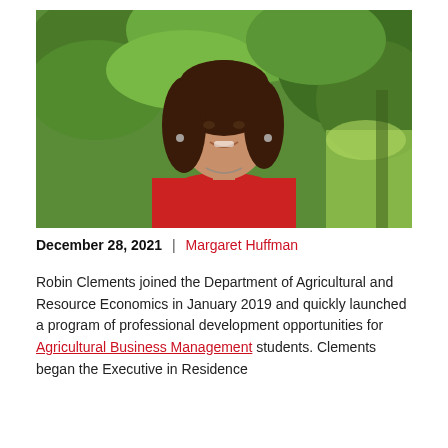[Figure (photo): Professional headshot of a woman with long dark hair, wearing a red top, smiling, with green trees/foliage in the background outdoors.]
December 28, 2021  |  Margaret Huffman
Robin Clements joined the Department of Agricultural and Resource Economics in January 2019 and quickly launched a program of professional development opportunities for Agricultural Business Management students. Clements began the Executive in Residence